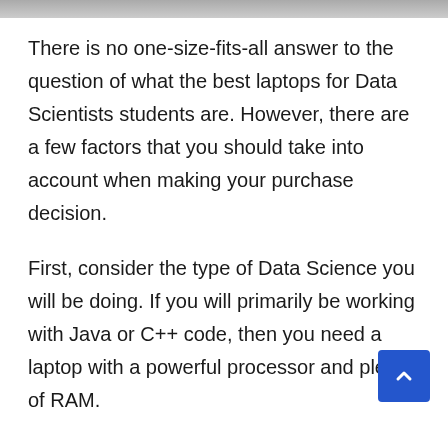[Figure (photo): Top strip showing partial image (cropped photo at top of page)]
There is no one-size-fits-all answer to the question of what the best laptops for Data Scientists students are. However, there are a few factors that you should take into account when making your purchase decision.
First, consider the type of Data Science you will be doing. If you will primarily be working with Java or C++ code, then you need a laptop with a powerful processor and plenty of RAM.